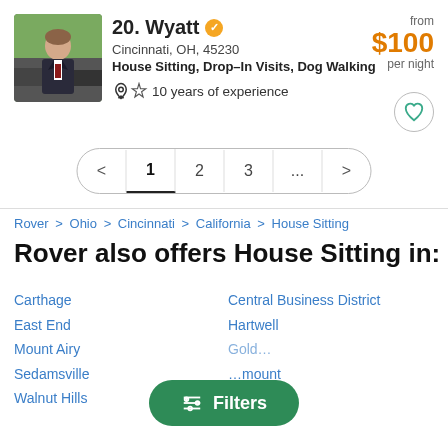[Figure (photo): Profile photo of Wyatt, a young man in a dark suit with red tie, outdoors near cars and trees]
20. Wyatt ✓
Cincinnati, OH, 45230
House Sitting, Drop–In Visits, Dog Walking
🏆 10 years of experience
from $100 per night
< 1 2 3 ... >
Rover > Ohio > Cincinnati > California > House Sitting
Rover also offers House Sitting in:
Carthage
East End
Mount Airy
Sedamsville
Walnut Hills
Central Business District
Hartwell
≡ Filters